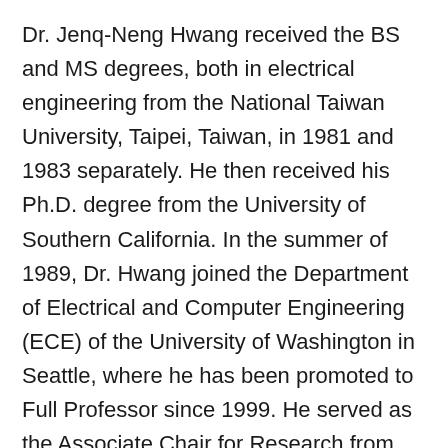Dr. Jenq-Neng Hwang received the BS and MS degrees, both in electrical engineering from the National Taiwan University, Taipei, Taiwan, in 1981 and 1983 separately. He then received his Ph.D. degree from the University of Southern California. In the summer of 1989, Dr. Hwang joined the Department of Electrical and Computer Engineering (ECE) of the University of Washington in Seattle, where he has been promoted to Full Professor since 1999. He served as the Associate Chair for Research from 2003 to 2005, and from 2011-2015. He also served as the Associate Chair for Global Affairs from 2015-2020. He is currently the International Programs Lead in the ECE Department. He is the founder and co-director of the Information